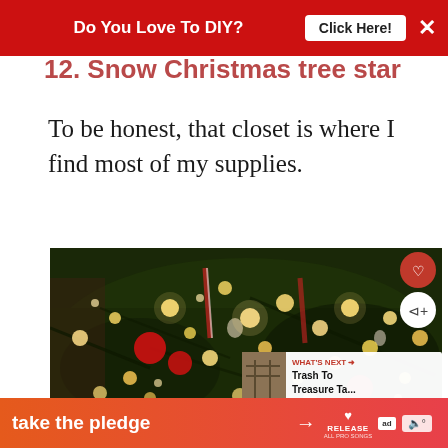Do You Love To DIY? Click Here! ×
12. Snow Christmas tree star
To be honest, that closet is where I find most of my supplies.
[Figure (photo): Close-up photo of a decorated Christmas tree with warm glowing lights, red ornaments, candy canes, and white decorations against dark green branches. A heart/like button and share button are visible on the right side. A 'What's Next' panel shows 'Trash To Treasure Ta...' preview.]
take the pledge → RELEASE ad